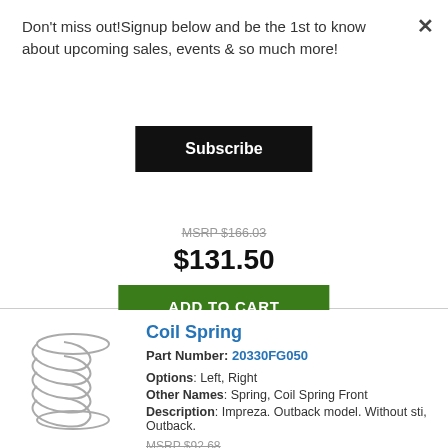Don't miss out!Signup below and be the 1st to know about upcoming sales, events & so much more!
×
Subscribe
MSRP $166.03
$131.50
ADD TO CART
Coil Spring
Part Number: 20330FG050
Options: Left, Right
Other Names: Spring, Coil Spring Front
Description: Impreza. Outback model. Without sti, Outback.
MSRP $92.68
$73.41